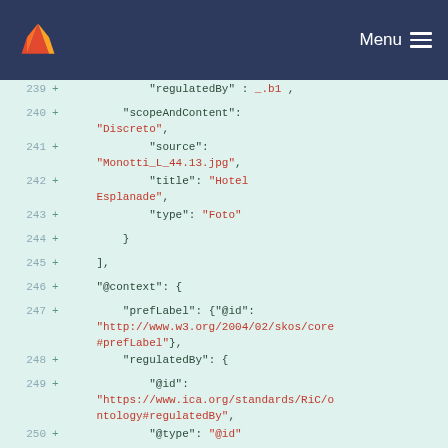GitLab logo | Menu
[Figure (screenshot): Code diff view showing JSON lines 239-251 with additions marked by + signs on a light green background. Strings are highlighted in red/pink.]